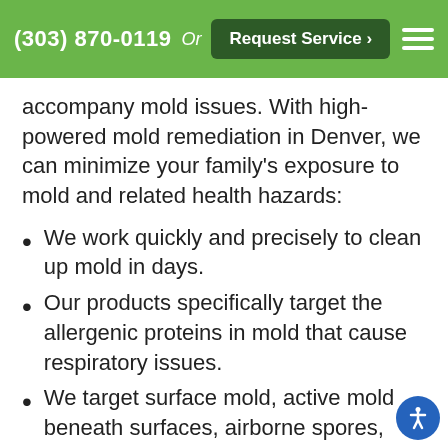(303) 870-0119  Or  Request Service >
accompany mold issues. With high-powered mold remediation in Denver, we can minimize your family's exposure to mold and related health hazards:
We work quickly and precisely to clean up mold in days.
Our products specifically target the allergenic proteins in mold that cause respiratory issues.
We target surface mold, active mold beneath surfaces, airborne spores, and even dead mold growth.